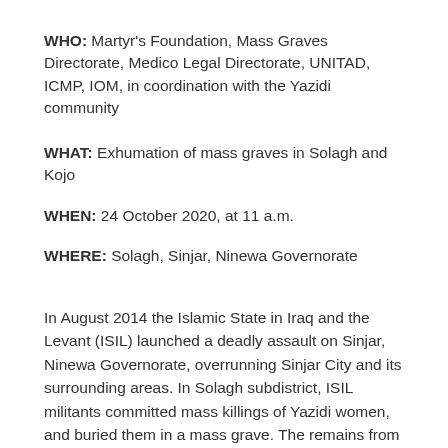WHO: Martyr's Foundation, Mass Graves Directorate, Medico Legal Directorate, UNITAD, ICMP, IOM, in coordination with the Yazidi community
WHAT: Exhumation of mass graves in Solagh and Kojo
WHEN: 24 October 2020, at 11 a.m.
WHERE: Solagh, Sinjar, Ninewa Governorate
In August 2014 the Islamic State in Iraq and the Levant (ISIL) launched a deadly assault on Sinjar, Ninewa Governorate, overrunning Sinjar City and its surrounding areas. In Solagh subdistrict, ISIL militants committed mass killings of Yazidi women, and buried them in a mass grave. The remains from two such graves will be exhumed to then be matched, based on DNA sampling, with surviving family members.